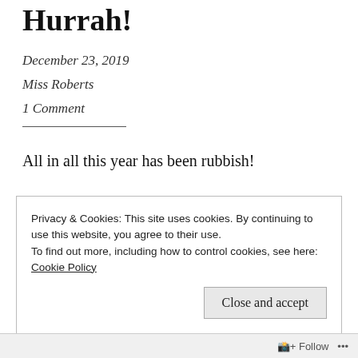2019 is almost over. Hurrah!
December 23, 2019
Miss Roberts
1 Comment
All in all this year has been rubbish!
How was your year?
Privacy & Cookies: This site uses cookies. By continuing to use this website, you agree to their use.
To find out more, including how to control cookies, see here: Cookie Policy
Close and accept
Follow